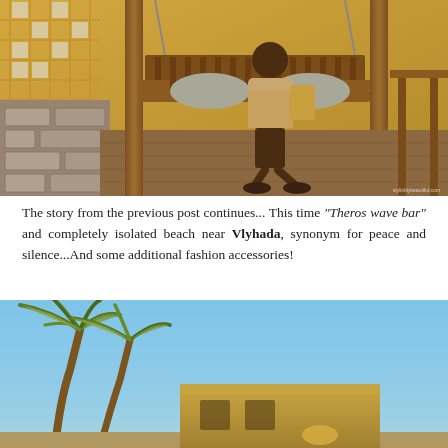[Figure (photo): Woman sitting on a wooden swing bench with cushions at Theros wave bar, warm golden hour lighting, wooden decking floor, trellis fence in background]
The story from the previous post continues... This time "Theros wave bar" and completely isolated beach near Vlyhada, synonym for peace and silence...And some additional fashion accessories!
[Figure (photo): Low angle shot of palm trees against a clear blue sky, with a stone or sandy colored building structure visible in the lower portion]